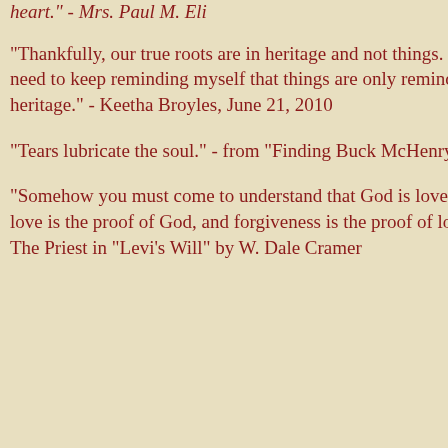heart." - Mrs. Paul M. Eli
"Thankfully, our true roots are in heritage and not things. I just need to keep reminding myself that things are only reminders of heritage." - Keetha Broyles, June 21, 2010
"Tears lubricate the soul." - from "Finding Buck McHenry"
"Somehow you must come to understand that God is love, that love is the proof of God, and forgiveness is the proof of love." - The Priest in "Levi's Will" by W. Dale Cramer
Tonja said...
What a lovely post! It times past. And, how l remember! I know you memories to treasure.
June 30, 2011 at 2:17 PM
Post a Comment
Newer Post
Ho
Subscribe to: Post Comments (